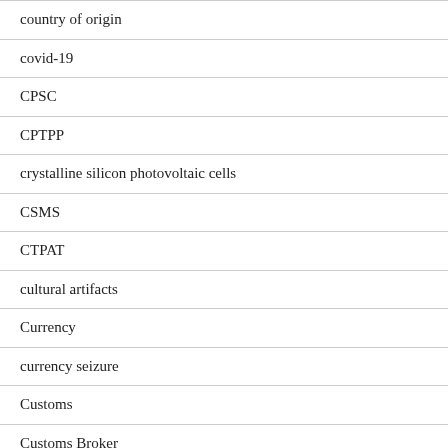country of origin
covid-19
CPSC
CPTPP
crystalline silicon photovoltaic cells
CSMS
CTPAT
cultural artifacts
Currency
currency seizure
Customs
Customs Broker
Customs Lawyer
cyber-security